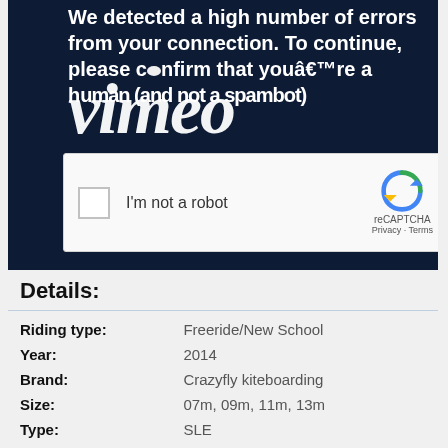[Figure (screenshot): Vimeo error page screenshot showing 'We detected a high number of errors from your connection. To continue, please confirm that youâ€™re a human (and not a spambot).' with Vimeo logo overlaid and a reCAPTCHA 'I'm not a robot' checkbox widget.]
Details:
| Riding type: | Freeride/New School |
| Year: | 2014 |
| Brand: | Crazyfly kiteboarding |
| Size: | 07m, 09m, 11m, 13m |
| Type: | SLE |
| One pump: | Yes |